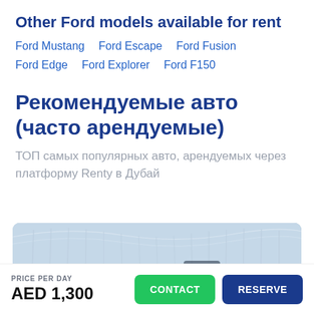Other Ford models available for rent
Ford Mustang   Ford Escape   Ford Fusion   Ford Edge   Ford Explorer   Ford F150
Рекомендуемые авто (часто арендуемые)
ТОП самых популярных авто, арендуемых через платформу Renty в Дубай
[Figure (photo): Aerial/architectural photo of a bridge or modern structure in Dubai, partial car visible]
PRICE PER DAY
AED 1,300
CONTACT   RESERVE